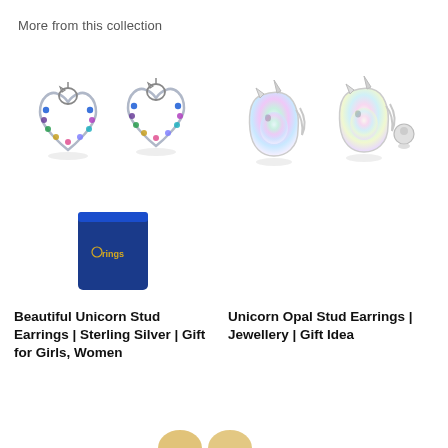More from this collection
[Figure (photo): Beautiful Unicorn Stud Earrings - Sterling Silver heart-shaped unicorn earrings with colorful gemstones, shown as a pair with a navy blue gift box below]
[Figure (photo): Unicorn Opal Stud Earrings - White opal unicorn head earrings shown as a pair, one front view and one with earring back visible]
Beautiful Unicorn Stud Earrings | Sterling Silver | Gift for Girls, Women
Unicorn Opal Stud Earrings | Jewellery | Gift Idea